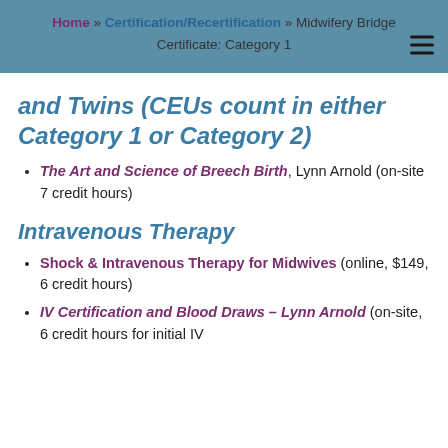Home » Certification/Recertification » Midwifery Bridge Certificate: Category 1
and Twins (CEUs count in either Category 1 or Category 2)
The Art and Science of Breech Birth, Lynn Arnold (on-site 7 credit hours)
Intravenous Therapy
Shock & Intravenous Therapy for Midwives (online, $149, 6 credit hours)
IV Certification and Blood Draws – Lynn Arnold (on-site, 6 credit hours for initial IV